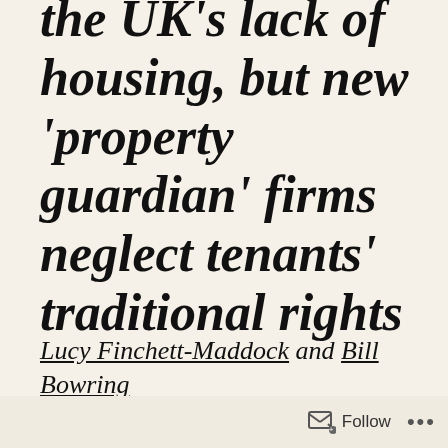the UK's lack of housing, but new 'property guardian' firms neglect tenants' traditional rights
Lucy Finchett-Maddock and Bill Bowring
guardian.co.uk, Friday 9 July 2010 07.59 BST